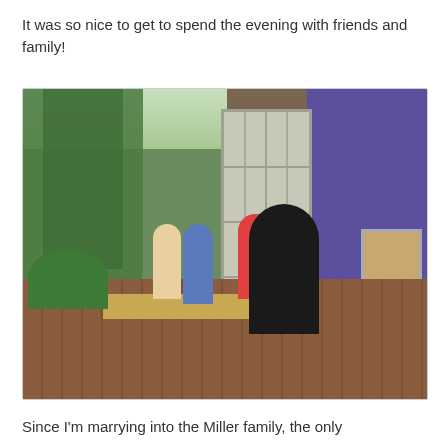It was so nice to get to spend the evening with friends and family!
[Figure (photo): Outdoor gathering at a venue with brick patio. Multiple people sitting and standing on and around a wooden deck adjacent to a building with French doors and purple wall. Lush green trees in background.]
Since I'm marrying into the Miller family, the only